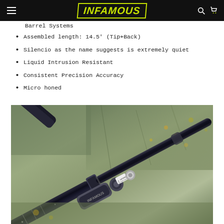INFAMOUS (logo header with hamburger menu, search, and cart icons)
Barrel Systems
Assembled length: 14.5' (Tip+Back)
Silencio as the name suggests is extremely quiet
Liquid Intrusion Resistant
Consistent Precision Accuracy
Micro honed
[Figure (photo): Close-up photo of paintball marker barrel components on stone background, showing black barrel with grip and fittings]